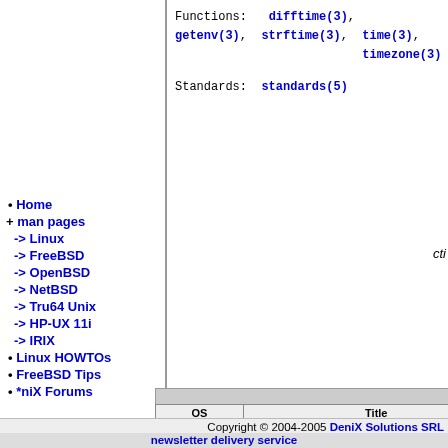Functions:  difftime(3),  getenv(3),  strftime(3),  time(3),  timezone(3)
Standards:  standards(5)
• Home
+ man pages
-> Linux
-> FreeBSD
-> OpenBSD
-> NetBSD
-> Tru64 Unix
-> HP-UX 11i
-> IRIX
• Linux HOWTOs
• FreeBSD Tips
• *niX Forums
| OS | Title |
| --- | --- |
| ru64 | Converts units from one measure to another |
| ru64 | Gets and sets date and time and converts time be |
| ru64 | Gets and sets date and time and converts time be |
| u64 | Gets and sets date and time and converts time be |
| u64 | Gets and sets date and time and converts time be |
| ..u64 | Gets and sets date and time and converts time be |
| Tru64 | Gets and sets date and time and converts time be |
| Tru64 | Gets and sets date and time and converts time be |
| Tru64 | Get time, converts time between time_t and time |
| Tru64 | Get time, converts time between time_t and time |
Copyright © 2004-2005 DeniX Solutions SRL  newsletter delivery service